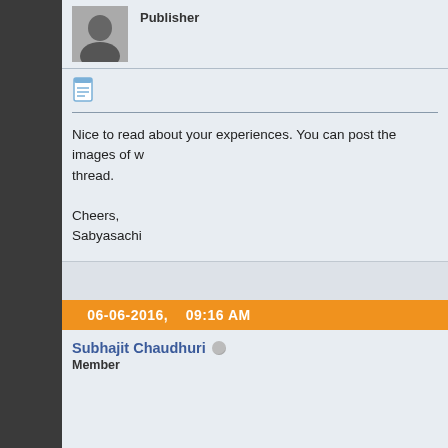[Figure (photo): Black and white avatar photo of a person]
Publisher
[Figure (illustration): Document/post icon]
Nice to read about your experiences. You can post the images of w... thread.

Cheers,
Sabyasachi
06-06-2016,    09:16 AM
Subhajit Chaudhuri
Member
[Figure (illustration): Document/post icon]
Originally Posted by Samrat Sarkar